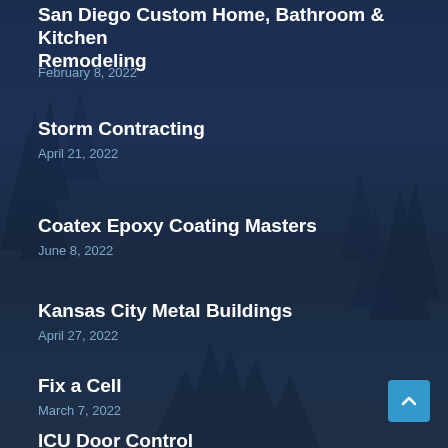San Diego Custom Home, Bathroom & Kitchen Remodeling
February 8, 2022
Storm Contracting
April 21, 2022
Coatex Epoxy Coating Masters
June 8, 2022
Kansas City Metal Buildings
April 27, 2022
Fix a Cell
March 7, 2022
ICU Door Control